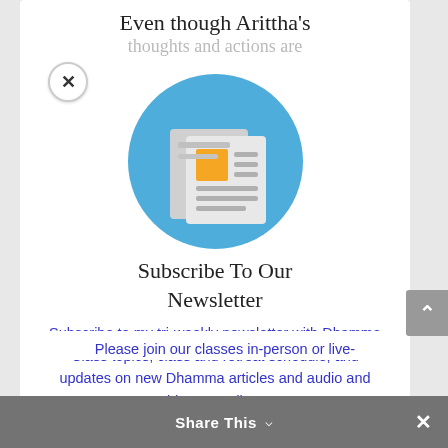Even though Arittha's
thoughts and actions are
[Figure (illustration): Newsletter subscription icon: a blue circle containing a stylized newspaper/document graphic with an orange square accent and grey lines representing text]
Subscribe To Our Newsletter
Subscribe to my tri-weekly newsletter with Dhamma Class topics, class and retreat schedule, and updates on new Dhamma articles and audio and video recordings.
Please join our classes in-person or live-
Share This